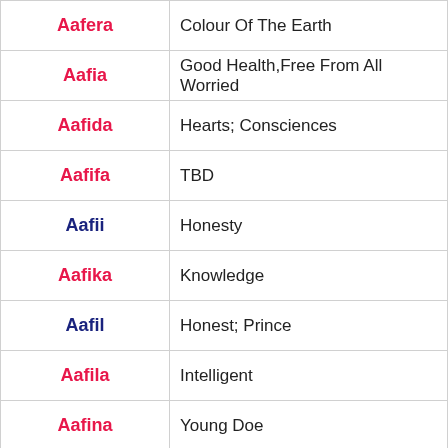| Name | Meaning |
| --- | --- |
| Aafera | Colour Of The Earth |
| Aafia | Good Health,Free From All Worried |
| Aafida | Hearts; Consciences |
| Aafifa | TBD |
| Aafii | Honesty |
| Aafika | Knowledge |
| Aafil | Honest; Prince |
| Aafila | Intelligent |
| Aafina | Young Doe |